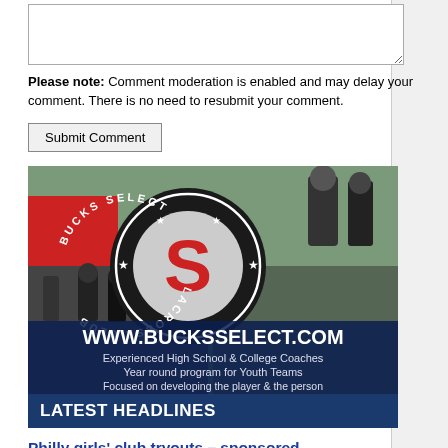[textarea input field]
Please note: Comment moderation is enabled and may delay your comment. There is no need to resubmit your comment.
Submit Comment
[Figure (illustration): Bucks Select Lacrosse Club advertisement showing lacrosse players in action with a circular logo featuring a red S. Text reads: WWW.BUCKSSELECT.COM, Experienced High School & College Coaches, Year round program for Youth Teams, Focused on developing the player & the person]
LATEST HEADLINES
Philly girls' club tryouts – sponsored